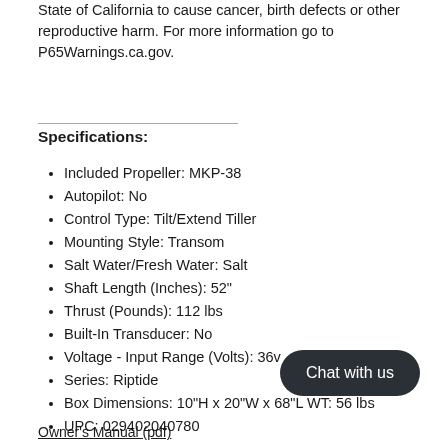State of California to cause cancer, birth defects or other reproductive harm. For more information go to P65Warnings.ca.gov.
Specifications:
Included Propeller: MKP-38
Autopilot: No
Control Type: Tilt/Extend Tiller
Mounting Style: Transom
Salt Water/Fresh Water: Salt
Shaft Length (Inches): 52"
Thrust (Pounds): 112 lbs
Built-In Transducer: No
Voltage - Input Range (Volts): 36v
Series: Riptide
Box Dimensions: 10"H x 20"W x 68"L WT: 56 lbs
UPC: 029402040780
Owner's Manual (pdf)